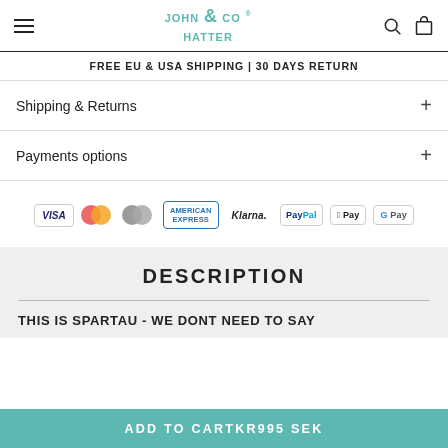John Hatter & CO
FREE EU & USA SHIPPING | 30 DAYS RETURN
Shipping & Returns +
Payments options +
[Figure (logo): Payment method logos: VISA, Mastercard (two variants), American Express, Klarna, PayPal, Apple Pay, Google Pay]
DESCRIPTION
THIS IS SPARTAU - WE DONT NEED TO SAY
ADD TO CART KR995 SEK